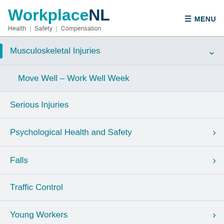WorkplaceNL Health | Safety | Compensation
Musculoskeletal Injuries
Move Well – Work Well Week
Serious Injuries
Psychological Health and Safety
Falls
Traffic Control
Young Workers